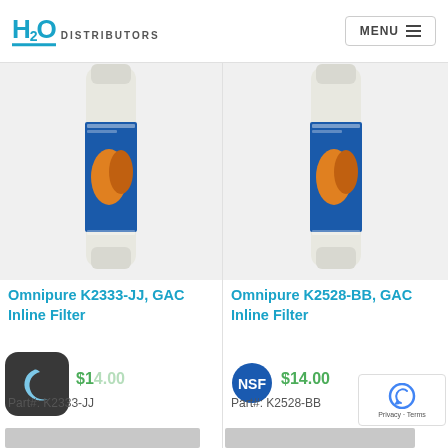[Figure (logo): H2O Distributors logo in teal/cyan color]
[Figure (other): MENU navigation button with hamburger icon]
[Figure (photo): Omnipure K2333-JJ GAC Inline Filter product photo]
[Figure (photo): Omnipure K2528-BB GAC Inline Filter product photo]
Omnipure K2333-JJ, GAC Inline Filter
Omnipure K2528-BB, GAC Inline Filter
[Figure (other): Dark mode icon (crescent moon on dark background)]
$1...
Part#: K2333-JJ
[Figure (logo): NSF certification badge (blue circle with NSF text)]
$14.00
Part#: K2528-BB
[Figure (other): Google reCAPTCHA badge]